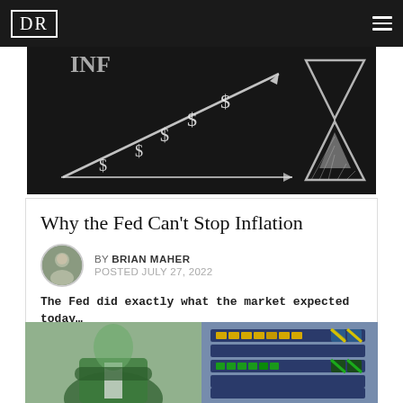DR
[Figure (photo): Chalkboard background with chalk drawings of dollar signs, an upward arrow graph representing rising prices (inflation), and an hourglass shape on the right side]
Why the Fed Can't Stop Inflation
BY BRIAN MAHER
POSTED JULY 27, 2022
The Fed did exactly what the market expected today…
[Figure (photo): Two-panel teaser image: left panel shows a green-tinted illustration of a person in a suit holding something, right panel shows a blue electronic control panel or server rack with yellow and green indicator lights]